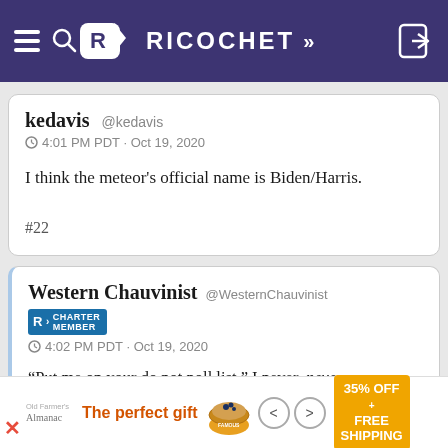RICOCHET
kedavis @kedavis
4:01 PM PDT · Oct 19, 2020

I think the meteor's official name is Biden/Harris.

#22
Western Chauvinist @WesternChauvinist
CHARTER MEMBER
4:02 PM PDT · Oct 19, 2020

"Put me on your do not poll list." I never, never answer polls. Not since I was such, polled decades...